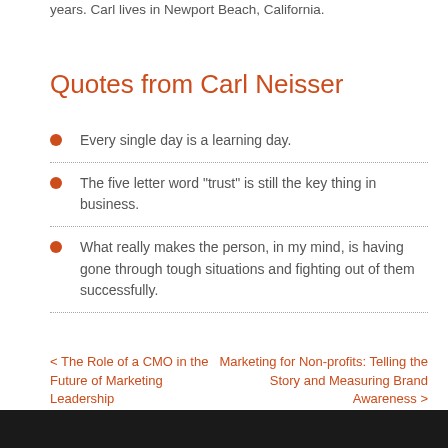years. Carl lives in Newport Beach, California.
Quotes from Carl Neisser
Every single day is a learning day.
The five letter word "trust" is still the key thing in business.
What really makes the person, in my mind, is having gone through tough situations and fighting out of them successfully.
< The Role of a CMO in the Future of Marketing Leadership     Marketing for Non-profits: Telling the Story and Measuring Brand Awareness >